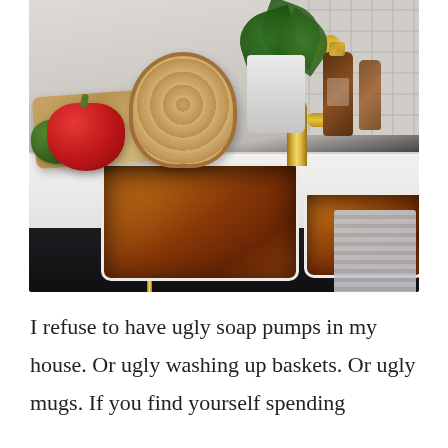[Figure (photo): A stylish kitchen counter with a white marble surface featuring a large copper/bronze undermount sink and a smaller second sink, gold/brass faucet, cutting boards, red and green peppers, a white plant pot with green foliage, amber soap bottle with brass pump, and a grey striped towel hanging on the right. Dark navy/black cabinetry below with brass bar handles.]
I refuse to have ugly soap pumps in my house. Or ugly washing up baskets. Or ugly mugs. If you find yourself spending